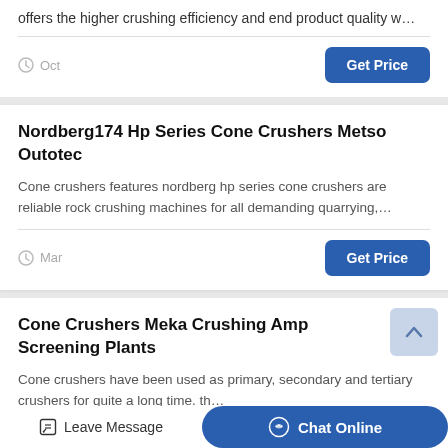offers the higher crushing efficiency and end product quality w…
Oct
Get Price
Nordberg174 Hp Series Cone Crushers Metso Outotec
Cone crushers features nordberg hp series cone crushers are reliable rock crushing machines for all demanding quarrying,…
Mar
Get Price
Cone Crushers Meka Crushing Amp Screening Plants
Cone crushers have been used as primary, secondary and tertiary crushers for quite a long time. th…
Leave Message
Chat Online